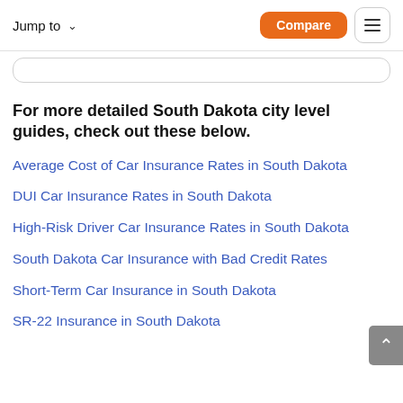Jump to  Compare
For more detailed South Dakota city level guides, check out these below.
Average Cost of Car Insurance Rates in South Dakota
DUI Car Insurance Rates in South Dakota
High-Risk Driver Car Insurance Rates in South Dakota
South Dakota Car Insurance with Bad Credit Rates
Short-Term Car Insurance in South Dakota
SR-22 Insurance in South Dakota